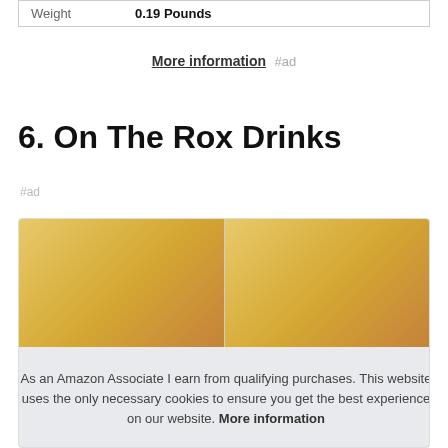| Weight | 0.19 Pounds |
| --- | --- |
More information #ad
6. On The Rox Drinks
#ad
[Figure (photo): Product images of On The Rox Drinks items in golden/amber colored packaging]
As an Amazon Associate I earn from qualifying purchases. This website uses the only necessary cookies to ensure you get the best experience on our website. More information